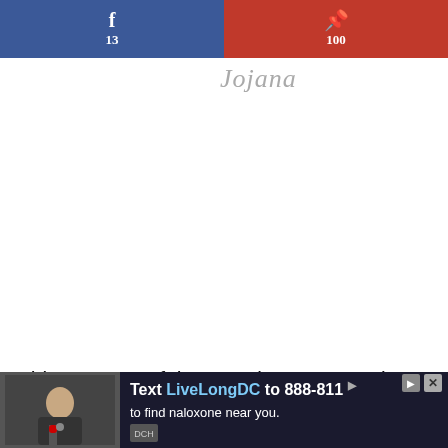[Figure (other): Social share bar with Facebook (f, 13) in blue on left and Pinterest (P, 100) in red on right]
[Figure (logo): Cursive/script logo text in light gray, signature style]
This was one of the most important and I can vouch for myself but post birth getting air to the wound wasn't as easy as it may sound. The baby came out and there was a lot of excess skin, which... So I
[Figure (other): Advertisement banner: Text LiveLongDC to 888-811 to find naloxone near you. Shows a person with a microphone on left side.]